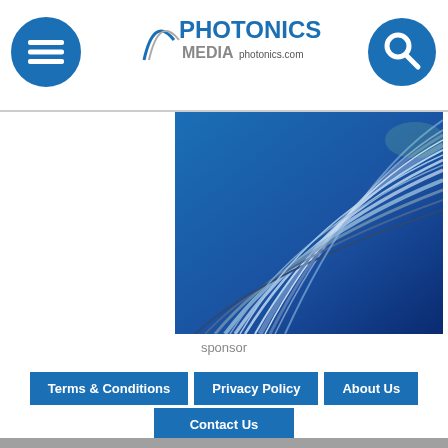Photonics Media photonics.com
[Figure (photo): Abstract image of fiber optic cables or light beams on a blue background, used as a sponsor advertisement banner.]
sponsor
Terms & Conditions | Privacy Policy | About Us | Contact Us
back to top
[Figure (infographic): Row of social media icon circles: Facebook, Twitter, Instagram, LinkedIn, YouTube, RSS Feed]
We use cookies to improve user experience and analyze our website traffic as stated in our Privacy Policy. By using this website, you agree to the use of cookies unless you have disabled them. OK